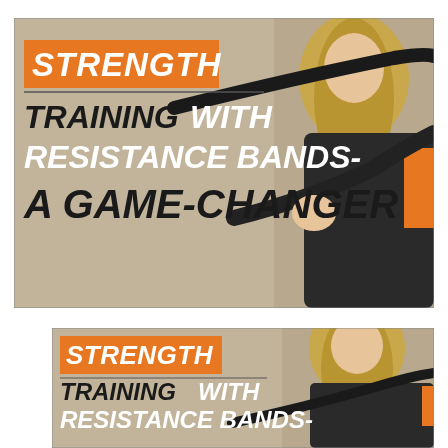[Figure (infographic): Fitness promotional banner showing a woman using resistance bands against a wall. Text overlay reads: STRENGTH / TRAINING WITH RESISTANCE BANDS- / A GAME-CHANGER. Orange background box behind STRENGTH.]
[Figure (infographic): Smaller version of the same fitness promotional banner, cropped showing only the top portion with STRENGTH / TRAINING WITH / RESISTANCE BANDS- text and part of A GAME-CHANGER. Same woman with resistance bands visible.]